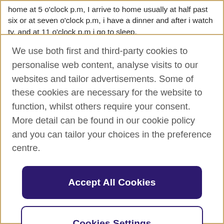home at 5 o'clock p.m, I arrive to home usually at half past six or at seven o'clock p.m, i have a dinner and after i watch tv, and at 11 o'clock p.m i go to sleep.
We use both first and third-party cookies to personalise web content, analyse visits to our websites and tailor advertisements. Some of these cookies are necessary for the website to function, whilst others require your consent. More detail can be found in our cookie policy and you can tailor your choices in the preference centre.
Accept All Cookies
Cookies Settings